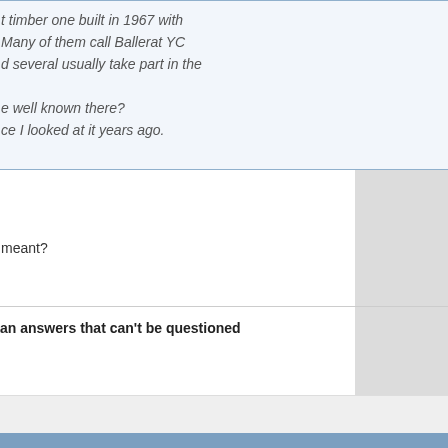t timber one built in 1967 with
Many of them call Ballerat YC
d several usually take part in the
e well known there?
ce I looked at it years ago.
meant?
an answers that can't be questioned
Reply With Quote
#47208
| Join Date: | Feb 2002 |
| Location: | Uki, NSW, Australia |
| Posts: | 35,241 |